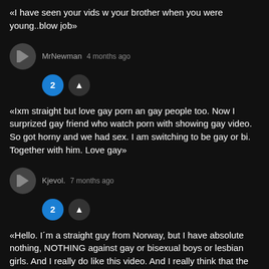«I have seen your vids w your brother when you were young..blow job»
MrNewman  4 months ago
«Ixm straight but love gay porn an gay people too. Now I surprized gay friend who watch porn with showing gay video. So got horny and we had sex. I am switching to be gay or bi. Together with him. Love gay»
Kjevol.  7 months ago
«Hello. I´m a straight guy from Norway, but I have absolute nothing, NOTHING against gay or bisexual boys or lesbian girls. And I really do like this video. And I really think that the boy with the glasses is very handsome, gorgeous, lovely and pretty. And I wish I could send him and email to tell him that. :- ) I´m going to dream horny dreams about him now. :- )»
Anonymous  12 months ago